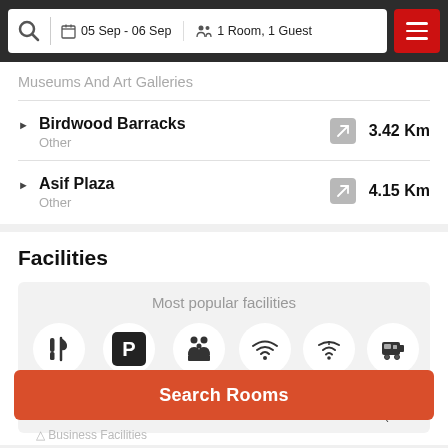05 Sep - 06 Sep  1 Room, 1 Guest
Museums And Art Galleries
Birdwood Barracks - Other - 3.42 Km
Asif Plaza - Other - 4.15 Km
Facilities
Most popular facilities
Restaurant
Free Parking
Family Rooms
WiFi
Internet
Shuttle Service (free)
Search Rooms
Business Facilities